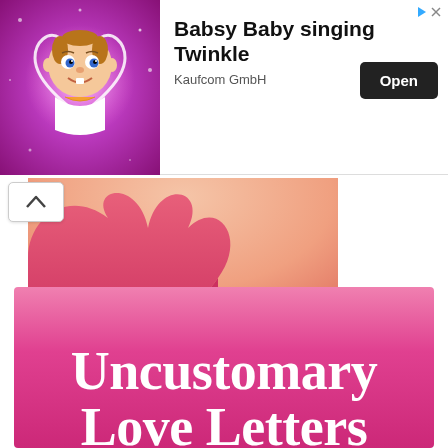[Figure (screenshot): Advertisement banner for 'Babsy Baby singing Twinkle' app by Kaufcom GmbH. Left side shows a cartoon baby character on a pink/purple sparkly background. Right side shows the app name, publisher, and an 'Open' button.]
[Figure (photo): Cropped photo showing a baby or young child's shoulder/chest area wrapped in pink fabric, with a pink heart-shaped cutout visible on the left side of the image.]
Newsletter!
[Figure (illustration): Pink gradient promotional image with large white serif text reading 'Uncustomary Love Letters' — partially visible at the bottom of the page, showing only the top portion of the text.]